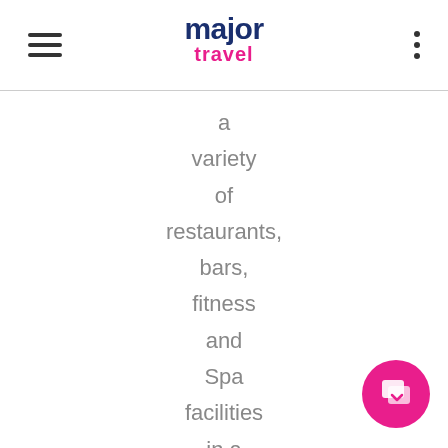major travel
a variety of restaurants, bars, fitness and Spa facilities in a Moorish style and outdoor pools overlooking the